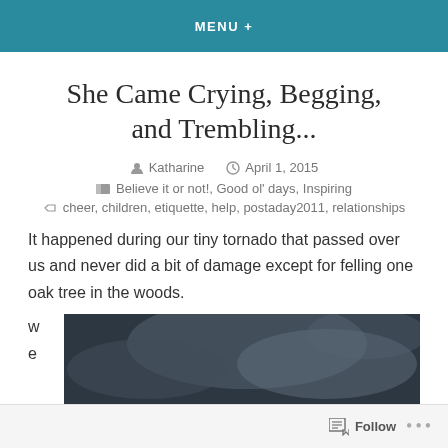MENU +
She Came Crying, Begging, and Trembling...
Katharine   April 1, 2015
Believe it or not!, Good ol' days, Inspiring
cheer, children, etiquette, help, postaday2011, relationships
It happened during our tiny tornado that passed over us and never did a bit of damage except for felling one oak tree in the woods.
[Figure (photo): Partial view of a dark, stormy sky or smoke-like image, dark grey and bluish tones, partially cropped at the bottom of the page]
Follow  ...